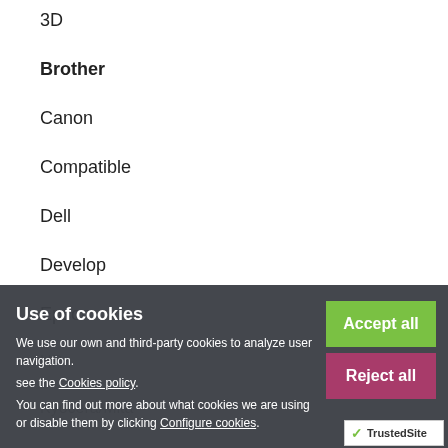3D
Brother
Canon
Compatible
Dell
Develop
Epson
HP
Kyocera/Mita
Use of cookies
We use our own and third-party cookies to analyze user navigation.
see the Cookies policy.
You can find out more about what cookies we are using or disable them by clicking Configure cookies.